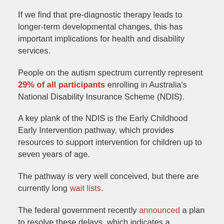If we find that pre-diagnostic therapy leads to longer-term developmental changes, this has important implications for health and disability services.
People on the autism spectrum currently represent 29% of all participants enrolling in Australia's National Disability Insurance Scheme (NDIS).
A key plank of the NDIS is the Early Childhood Early Intervention pathway, which provides resources to support intervention for children up to seven years of age.
The pathway is very well conceived, but there are currently long wait lists.
The federal government recently announced a plan to resolve these delays, which indicates a recognition of the importance of early intervention for children with a